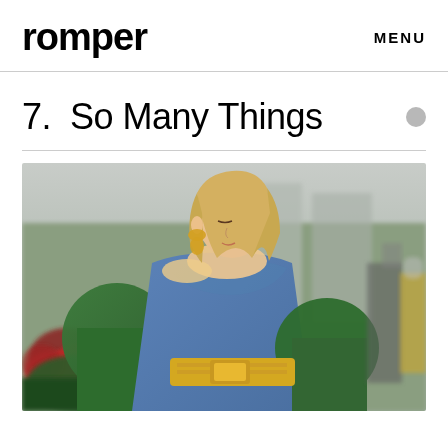romper    MENU
7.  So Many Things
[Figure (photo): A blonde woman wearing a blue and green off-shoulder puffed sleeve dress with a yellow belt with chain detail, gold drop earrings, photographed outdoors on a city street with red poinsettias and greenery in the background.]